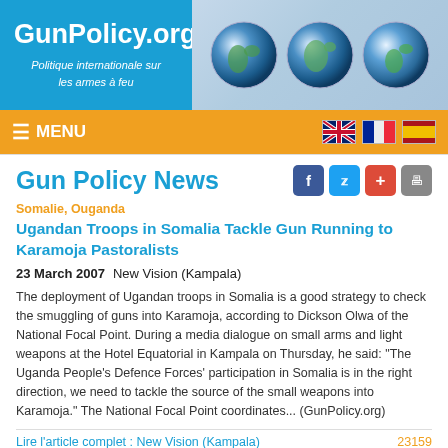[Figure (logo): GunPolicy.org website header with logo text and three globe images on blue background]
≡ MENU
Gun Policy News
Somalie,  Ouganda
Ugandan Troops in Somalia Tackle Gun Running to Karamoja Pastoralists
23 March 2007    New Vision (Kampala)
The deployment of Ugandan troops in Somalia is a good strategy to check the smuggling of guns into Karamoja, according to Dickson Olwa of the National Focal Point. During a media dialogue on small arms and light weapons at the Hotel Equatorial in Kampala on Thursday, he said: "The Uganda People's Defence Forces' participation in Somalia is in the right direction, we need to tackle the source of the small weapons into Karamoja." The National Focal Point coordinates... (GunPolicy.org)
Lire l'article complet : New Vision (Kampala)    23159